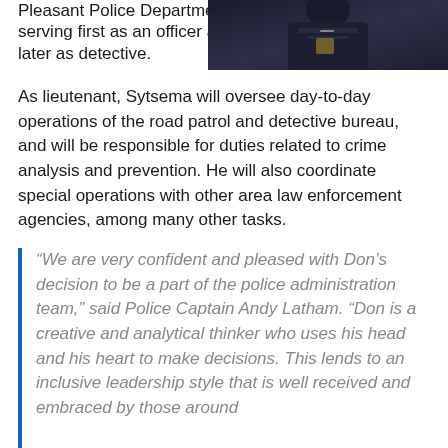Pleasant Police Department, serving first as an officer and later as detective.
[Figure (photo): Photo of a police officer in dark uniform, cropped upper body shot]
As lieutenant, Sytsema will oversee day-to-day operations of the road patrol and detective bureau, and will be responsible for duties related to crime analysis and prevention. He will also coordinate special operations with other area law enforcement agencies, among many other tasks.
“We are very confident and pleased with Don’s decision to be a part of the police administration team,” said Police Captain Andy Latham. “Don is a creative and analytical thinker who uses his head and his heart to make decisions. This lends to an inclusive leadership style that is well received and embraced by those around